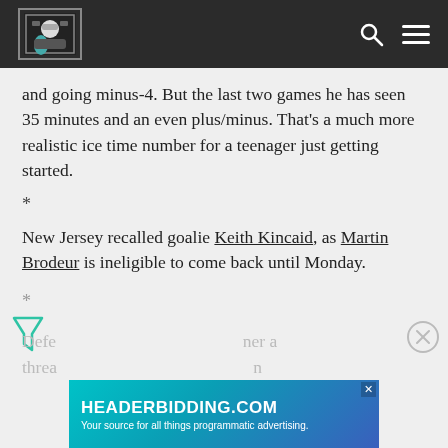[Site logo] [Search icon] [Menu icon]
and going minus-4. But the last two games he has seen 35 minutes and an even plus/minus. That's a much more realistic ice time number for a teenager just getting started.
*
New Jersey recalled goalie Keith Kincaid, as Martin Brodeur is ineligible to come back until Monday.
*
Defe... ner a threa... n
[Figure (screenshot): HEADERBIDDING.COM advertisement banner - Your source for all things programmatic advertising.]